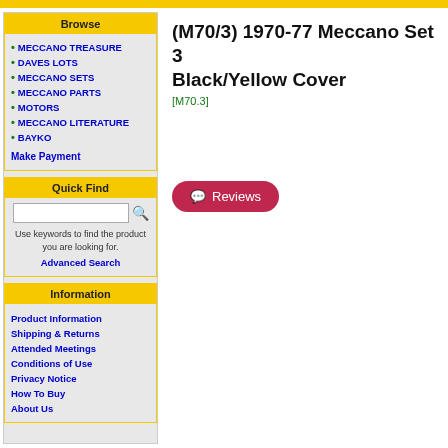Browse
MECCANO TREASURE
DAVES LOTS
MECCANO SETS
MECCANO PARTS
MOTORS
MECCANO LITERATURE
BAYKO
Make Payment
Quick Find
Use keywords to find the product you are looking for.
Advanced Search
Information
Product Information
Shipping & Returns
Attended Meetings
Conditions of Use
Privacy Notice
How To Buy
About Us
(M70/3) 1970-77 Meccano Set 3 Black/Yellow Cover
[M70.3]
Reviews